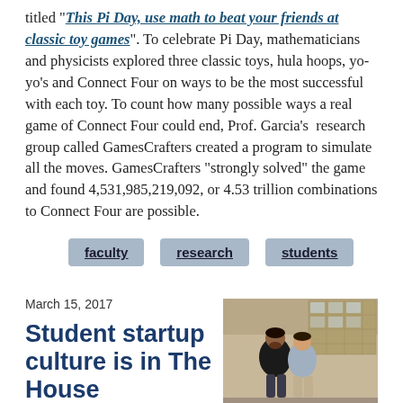titled “This Pi Day, use math to beat your friends at classic toy games”. To celebrate Pi Day, mathematicians and physicists explored three classic toys, hula hoops, yo-yo’s and Connect Four on ways to be the most successful with each toy. To count how many possible ways a real game of Connect Four could end, Prof. Garcia’s research group called GamesCrafters created a program to simulate all the moves. GamesCrafters “strongly solved” the game and found 4,531,985,219,092, or 4.53 trillion combinations to Connect Four are possible.
faculty
research
students
March 15, 2017
Student startup culture is in The House
[Figure (photo): Two young men standing outside in front of a building]
A number of EECS alumni and faculty have been invited to